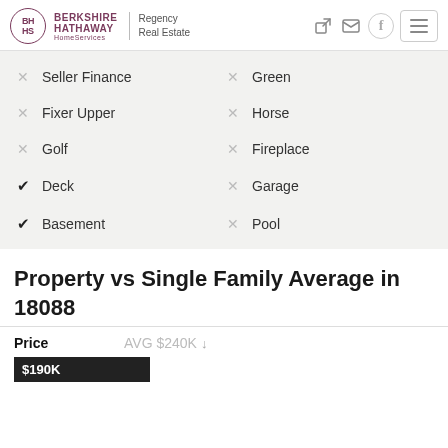[Figure (logo): Berkshire Hathaway HomeServices Regency Real Estate logo]
✗ Seller Finance
✗ Green
✗ Fixer Upper
✗ Horse
✗ Golf
✗ Fireplace
✓ Deck
✗ Garage
✓ Basement
✗ Pool
Property vs Single Family Average in 18088
Price   AVG $240K↓
$190K